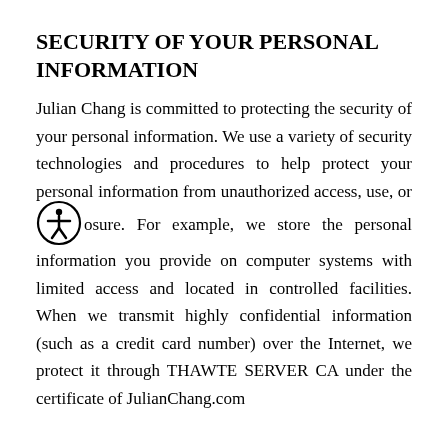SECURITY OF YOUR PERSONAL INFORMATION
Julian Chang is committed to protecting the security of your personal information. We use a variety of security technologies and procedures to help protect your personal information from unauthorized access, use, or disclosure. For example, we store the personal information you provide on computer systems with limited access and located in controlled facilities. When we transmit highly confidential information (such as a credit card number) over the Internet, we protect it through THAWTE SERVER CA under the certificate of JulianChang.com